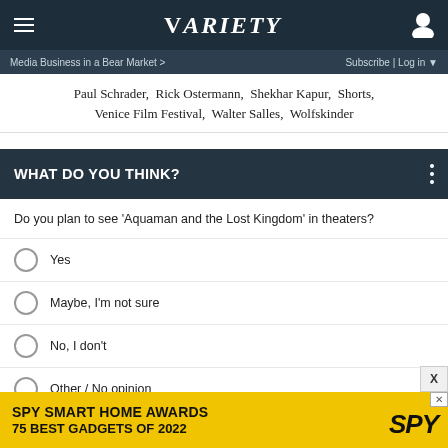VARIETY (navigation bar with hamburger menu and user icon)
Media Business in a Bear Market >  Subscribe | Log in
Paul Schrader,  Rick Ostermann,  Shekhar Kapur,  Shorts,  Venice Film Festival,  Walter Salles,  Wolfskinder
WHAT DO YOU THINK?
Do you plan to see 'Aquaman and the Lost Kingdom' in theaters?
Yes
Maybe, I'm not sure
No, I don't
Other / No opinion
[Figure (infographic): SPY Smart Home Awards advertisement banner — 'SPY SMART HOME AWARDS 75 BEST GADGETS OF 2022' on yellow background with SPY logo]